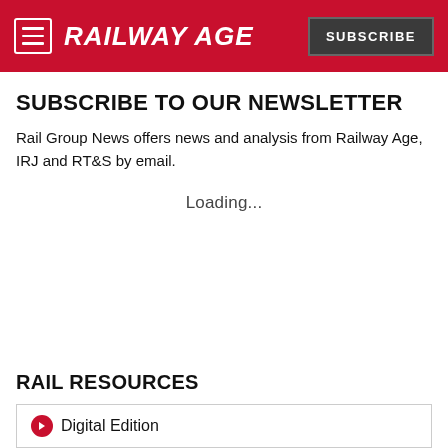RAILWAY AGE | SUBSCRIBE
SUBSCRIBE TO OUR NEWSLETTER
Rail Group News offers news and analysis from Railway Age, IRJ and RT&S by email.
Loading...
RAIL RESOURCES
Digital Edition